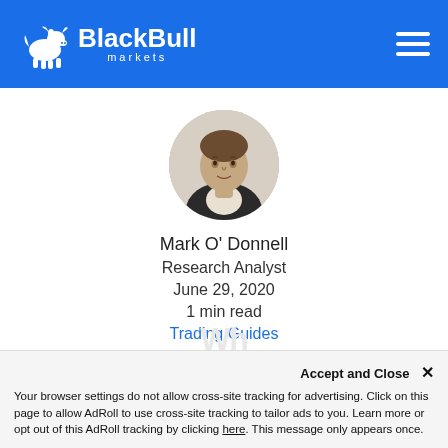[Figure (logo): BlackBull Markets logo with white bull icon and text on blue header background]
[Figure (photo): Circular profile photo of Mark O'Donnell, a man in a dark jacket with light background]
Mark O' Donnell
Research Analyst
June 29, 2020
1 min read
Trading Guides
[Figure (infographic): Social share icons row: Facebook, Twitter, LinkedIn, WhatsApp, Reddit]
Accept and Close ×
Your browser settings do not allow cross-site tracking for advertising. Click on this page to allow AdRoll to use cross-site tracking to tailor ads to you. Learn more or opt out of this AdRoll tracking by clicking here. This message only appears once.